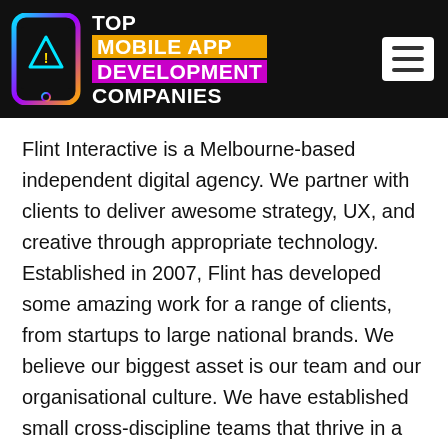[Figure (logo): Top Mobile App Development Companies logo with phone icon and colored text blocks on black header bar]
Flint Interactive is a Melbourne-based independent digital agency. We partner with clients to deliver awesome strategy, UX, and creative through appropriate technology. Established in 2007, Flint has developed some amazing work for a range of clients, from startups to large national brands. We believe our biggest asset is our team and our organisational culture. We have established small cross-discipline teams that thrive in a culture of collaboration, contribution and interaction. Some of the well-known brands/organisations that we've worked with include Boost Juice, San Churro, Pe Ice-creams, L'oreal Melbourne Fashion Festival, GAP,